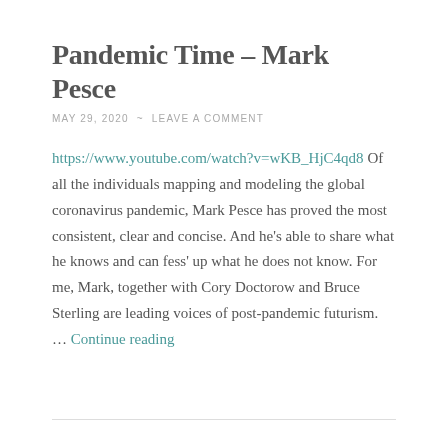Pandemic Time – Mark Pesce
MAY 29, 2020  ~  LEAVE A COMMENT
https://www.youtube.com/watch?v=wKB_HjC4qd8 Of all the individuals mapping and modeling the global coronavirus pandemic, Mark Pesce has proved the most consistent, clear and concise. And he's able to share what he knows and can fess' up what he does not know. For me, Mark, together with Cory Doctorow and Bruce Sterling are leading voices of post-pandemic futurism. … Continue reading